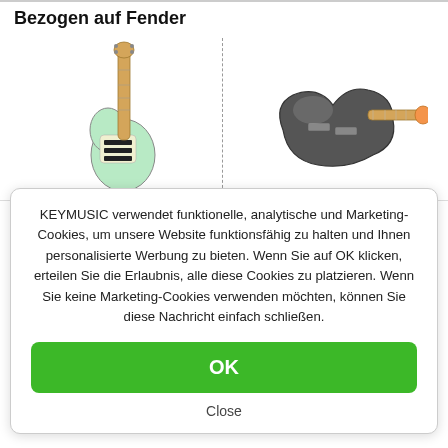Bezogen auf Fender
[Figure (photo): Two electric guitars side by side: left is a mint green Fender offset guitar with maple neck, right is a black/grey Fender Jazzmaster-style guitar with maple neck]
KEYMUSIC verwendet funktionelle, analytische und Marketing-Cookies, um unsere Website funktionsfähig zu halten und Ihnen personalisierte Werbung zu bieten. Wenn Sie auf OK klicken, erteilen Sie die Erlaubnis, alle diese Cookies zu platzieren. Wenn Sie keine Marketing-Cookies verwenden möchten, können Sie diese Nachricht einfach schließen.
OK
Close